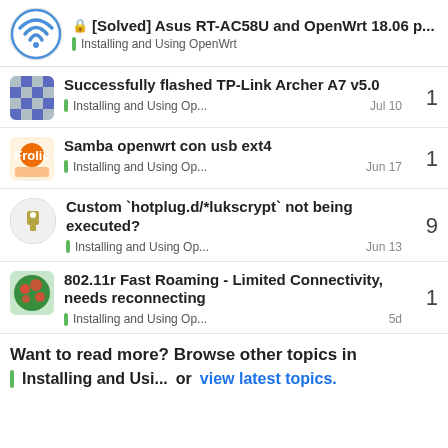[Solved] Asus RT-AC58U and OpenWrt 18.06 p... | Installing and Using OpenWrt
Successfully flashed TP-Link Archer A7 v5.0 | Installing and Using Op... | Jul 10 | 1
Samba openwrt con usb ext4 | Installing and Using Op... | Jun 17 | 1
Custom `hotplug.d/*lukscrypt` not being executed? | Installing and Using Op... | Jun 13 | 9
802.11r Fast Roaming - Limited Connectivity, needs reconnecting | Installing and Using Op... | 5d | 1
Want to read more? Browse other topics in Installing and Usi...  or view latest topics.